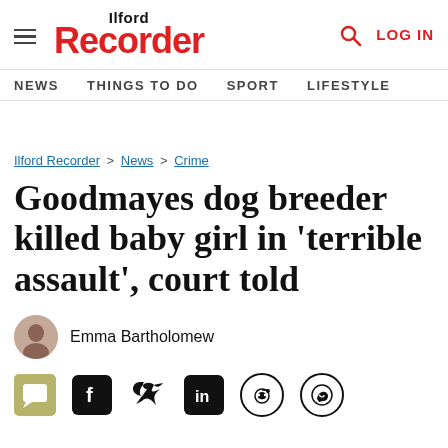Ilford Recorder — LOG IN
NEWS   THINGS TO DO   SPORT   LIFESTYLE
Ilford Recorder > News > Crime
Goodmayes dog breeder killed baby girl in 'terrible assault', court told
Emma Bartholomew